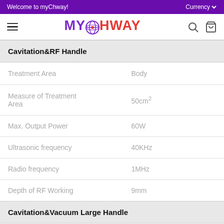Welcome to myChway!   Currency
[Figure (logo): myChway logo with globe icon in center, MY in purple, CHWAY in red]
| Cavitation&RF Handle |  |
| Treatment Area | Body |
| Measure of Treatment Area | 50cm² |
| Max. Output Power | 60W |
| Ultrasonic frequency | 40KHz |
| Radio frequency | 1MHz |
| Depth of RF Working | 9mm |
| Cavitation&Vacuum Large Handle |  |
| Treatment Area | Body |